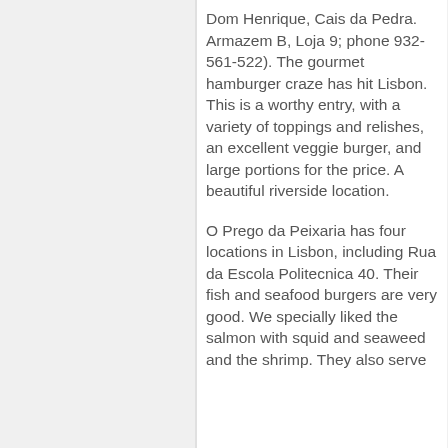Dom Henrique, Cais da Pedra. Armazem B, Loja 9; phone 932-561-522). The gourmet hamburger craze has hit Lisbon. This is a worthy entry, with a variety of toppings and relishes, an excellent veggie burger, and large portions for the price. A beautiful riverside location.
O Prego da Peixaria has four locations in Lisbon, including Rua da Escola Politecnica 40. Their fish and seafood burgers are very good. We specially liked the salmon with squid and seaweed and the shrimp. They also serve